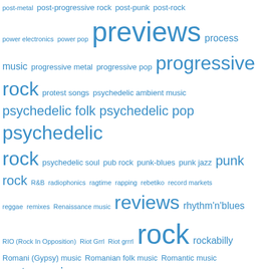[Figure (infographic): Tag cloud of music genres and categories in blue text, with size indicating frequency/importance. Tags include: post-metal, post-progressive rock, post-punk, post-rock, power electronics, power pop, previews (large), process music, progressive metal, progressive pop, progressive rock (large), protest songs, psychedelic ambient music, psychedelic folk, psychedelic pop, psychedelic rock (large), psychedelic soul, pub rock, punk-blues, punk jazz, punk rock (large), R&B, radiophonics, ragtime, rapping, rebetiko, record markets, reggae, remixes, Renaissance music, reviews (large), rhythm'n'blues, RIO (Rock In Opposition), Riot Grrl, Riot grrrl, rock (huge), rockabilly, Romani (Gypsy) music, Romanian folk music, Romantic music, roots music (large), Rwandan folk music, sacred music, sadcore, salon events, salsa, samba, sampledelia (large), sanjo, Scandinavian folk music]